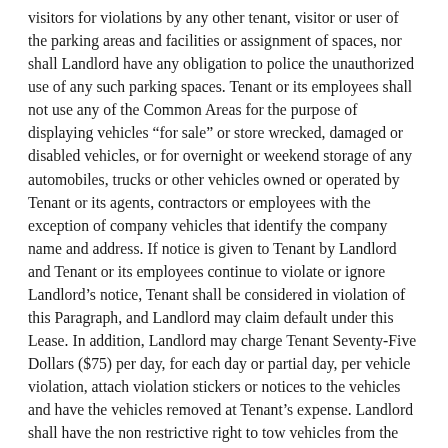visitors for violations by any other tenant, visitor or user of the parking areas and facilities or assignment of spaces, nor shall Landlord have any obligation to police the unauthorized use of any such parking spaces. Tenant or its employees shall not use any of the Common Areas for the purpose of displaying vehicles “for sale” or store wrecked, damaged or disabled vehicles, or for overnight or weekend storage of any automobiles, trucks or other vehicles owned or operated by Tenant or its agents, contractors or employees with the exception of company vehicles that identify the company name and address. If notice is given to Tenant by Landlord and Tenant or its employees continue to violate or ignore Landlord’s notice, Tenant shall be considered in violation of this Paragraph, and Landlord may claim default under this Lease. In addition, Landlord may charge Tenant Seventy-Five Dollars ($75) per day, for each day or partial day, per vehicle violation, attach violation stickers or notices to the vehicles and have the vehicles removed at Tenant’s expense. Landlord shall have the non restrictive right to tow vehicles from the Complex and shall not be responsible for any vehicle damage or charges.